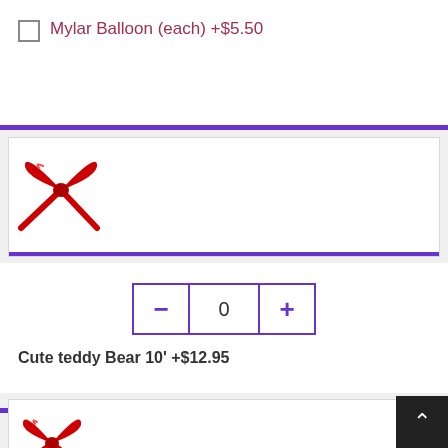Mylar Balloon (each) +$5.50
[Figure (illustration): Gift box product image area with red ribbon bow in top-left corner]
Cute teddy Bear 10' +$12.95
[Figure (illustration): Gift box product image area with red ribbon bow in top-left corner, partially visible at bottom of page]